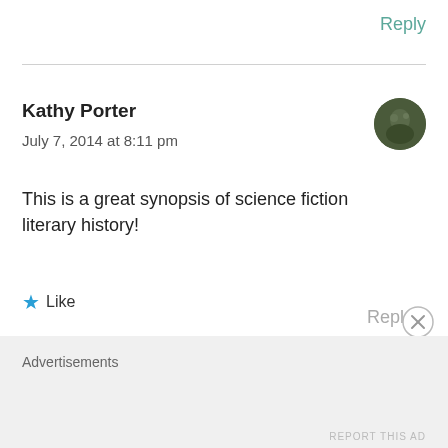Reply
Kathy Porter
July 7, 2014 at 8:11 pm
This is a great synopsis of science fiction literary history!
Like
👍 0 👎 0 ℹ Rate This
Repl
Advertisements